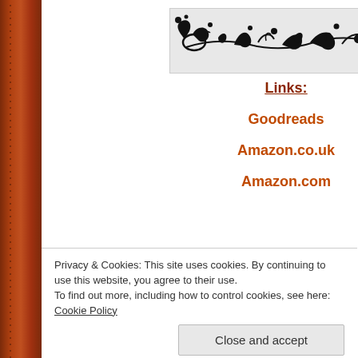[Figure (illustration): Decorative black floral/vine ornamental banner on light grey background]
Links:
Goodreads
Amazon.co.uk
Amazon.com
Privacy & Cookies: This site uses cookies. By continuing to use this website, you agree to their use.
To find out more, including how to control cookies, see here: Cookie Policy
Close and accept